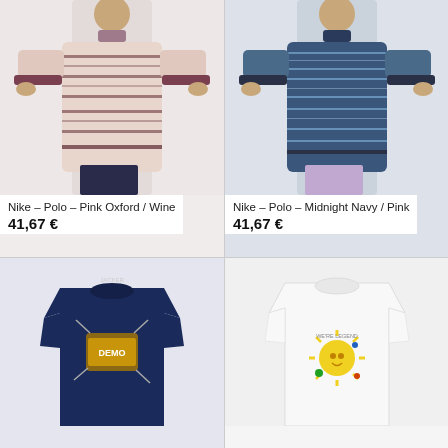[Figure (photo): Man wearing Nike long-sleeve polo shirt in Pink Oxford / Wine stripe pattern, standing against light background]
Nike – Polo – Pink Oxford / Wine
41,67 €
[Figure (photo): Man wearing Nike long-sleeve polo shirt in Midnight Navy / Pink stripe pattern, wearing lavender shorts, standing against light background]
Nike – Polo – Midnight Navy / Pink
41,67 €
[Figure (photo): Navy blue t-shirt with graphic print showing a comic-style broken brick/stone design with colorful lettering]
[Figure (photo): White t-shirt with small colorful graphic print featuring a sun and floral/nature motif with text]